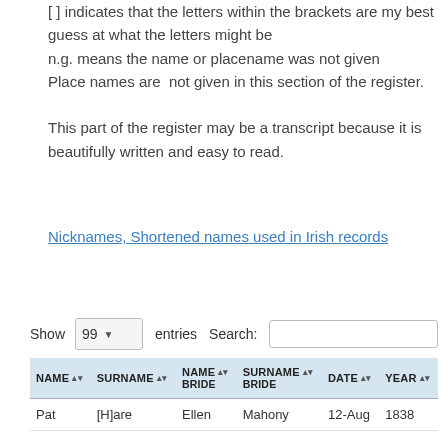[ ] indicates that the letters within the brackets are my best guess at what the letters might be
n.g. means the name or placename was not given
Place names are  not given in this section of the register.
This part of the register may be a transcript because it is beautifully written and easy to read.
Nicknames, Shortened names used in Irish records
Show 99 entries Search:
| NAME | SURNAME | NAME BRIDE | SURNAME BRIDE | DATE | YEAR |
| --- | --- | --- | --- | --- | --- |
| Pat | [H]are | Ellen | Mahony | 12-Aug | 1838 |